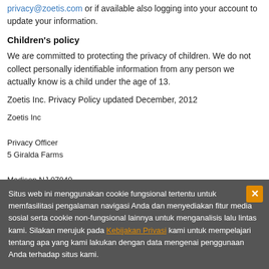privacy@zoetis.com or if available also logging into your account to update your information.
Children's policy
We are committed to protecting the privacy of children. We do not collect personally identifiable information from any person we actually know is a child under the age of 13.
Zoetis Inc. Privacy Policy updated December, 2012
Zoetis Inc

Privacy Officer
5 Giralda Farms

Madison NJ 07940
Situs web ini menggunakan cookie fungsional tertentu untuk memfasilitasi pengalaman navigasi Anda dan menyediakan fitur media sosial serta cookie non-fungsional lainnya untuk menganalisis lalu lintas kami. Silakan merujuk pada Kebijakan Privasi kami untuk mempelajari tentang apa yang kami lakukan dengan data mengenai penggunaan Anda terhadap situs kami.